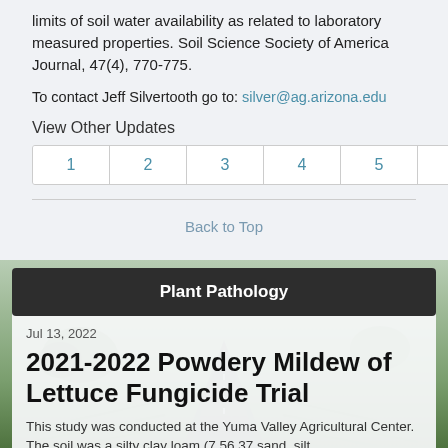limits of soil water availability as related to laboratory measured properties. Soil Science Society of America Journal, 47(4), 770-775.
To contact Jeff Silvertooth go to: silver@ag.arizona.edu
View Other Updates
Pagination: 1 2 3 4 5 6 7 8 9 10 »
Back to Top
Plant Pathology
Jul 13, 2022
2021-2022 Powdery Mildew of Lettuce Fungicide Trial
This study was conducted at the Yuma Valley Agricultural Center. The soil was a silty clay loam (7.56 37 sand, silt...